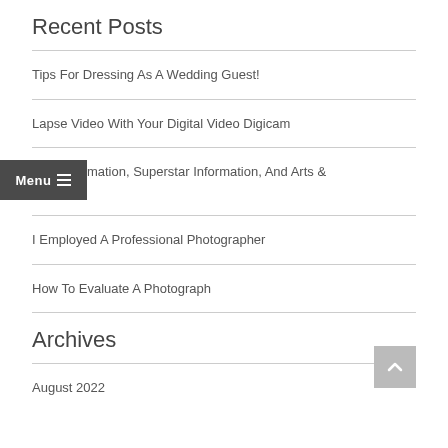Recent Posts
Tips For Dressing As A Wedding Guest!
Lapse Video With Your Digital Video Digicam
Edis Information, Superstar Information, And Arts & Leisure
I Employed A Professional Photographer
How To Evaluate A Photograph
Archives
August 2022